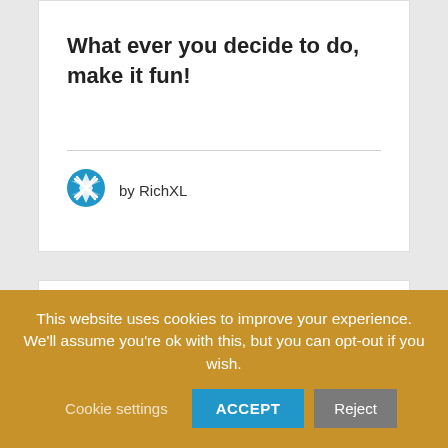What ever you decide to do, make it fun!
by RichXL
This website uses cookies to improve your experience. We'll assume you're ok with this, but you can opt-out if you wish.